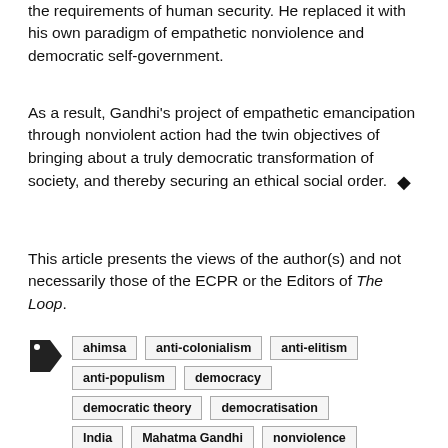the requirements of human security. He replaced it with his own paradigm of empathetic nonviolence and democratic self-government.
As a result, Gandhi's project of empathetic emancipation through nonviolent action had the twin objectives of bringing about a truly democratic transformation of society, and thereby securing an ethical social order. ◇
This article presents the views of the author(s) and not necessarily those of the ECPR or the Editors of The Loop.
ahimsa
anti-colonialism
anti-elitism
anti-populism
democracy
democratic theory
democratisation
India
Mahatma Gandhi
nonviolence
political theory
swaraj